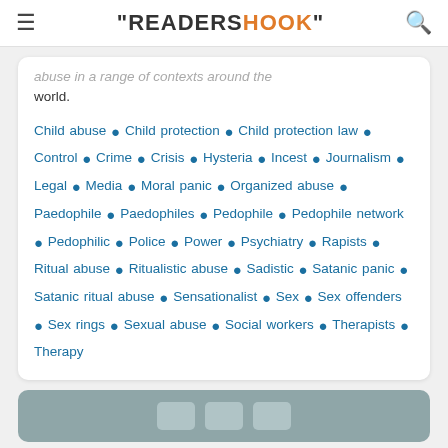"READERSHOOK"
abuse in a range of contexts around the world.
Child abuse • Child protection • Child protection law • Control • Crime • Crisis • Hysteria • Incest • Journalism • Legal • Media • Moral panic • Organized abuse • Paedophile • Paedophiles • Pedophile • Pedophile network • Pedophilic • Police • Power • Psychiatry • Rapists • Ritual abuse • Ritualistic abuse • Sadistic • Satanic panic • Satanic ritual abuse • Sensationalist • Sex • Sex offenders • Sex rings • Sexual abuse • Social workers • Therapists • Therapy